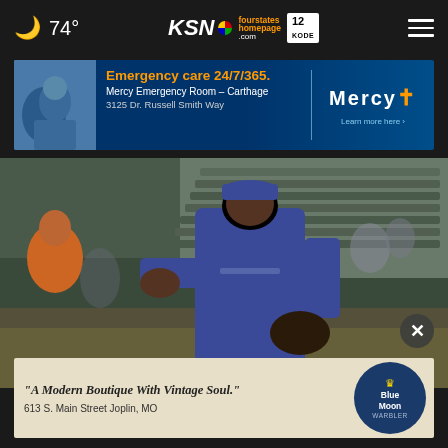74° | KSN | fourstates homepage.com | 12 KODE
[Figure (photo): Mercy Emergency Room advertisement banner: child with mask, text 'Emergency care 24/7/365. Mercy Emergency Room - Carthage. 3125 Dr. Russell Smith Way. Learn more here.' with Mercy logo.]
[Figure (photo): Baseball player in blue Houston Astros uniform standing on field, stadium seats visible in background, blurred background.]
[Figure (photo): Blue Moon Market advertisement: '"A Modern Boutique With Vintage Soul." 613 S. Main Street Joplin, MO' with Blue Moon Warbler logo.]